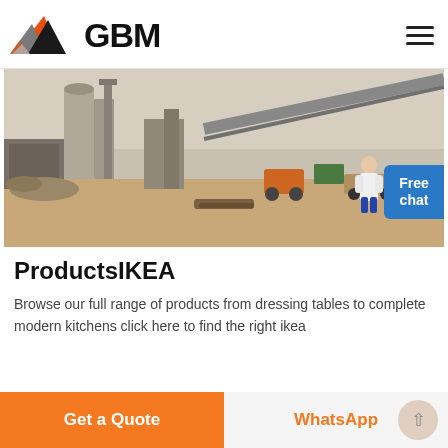[Figure (logo): GBM company logo with mountain/triangle shape in orange, grey, and black, followed by bold text 'GBM']
[Figure (photo): Industrial site / mining facility with heavy machinery, conveyor belts, silos, and construction equipment on sandy ground]
ProductsIKEA
Browse our full range of products from dressing tables to complete modern kitchens click here to find the right ikea
Get a Quote
WhatsApp